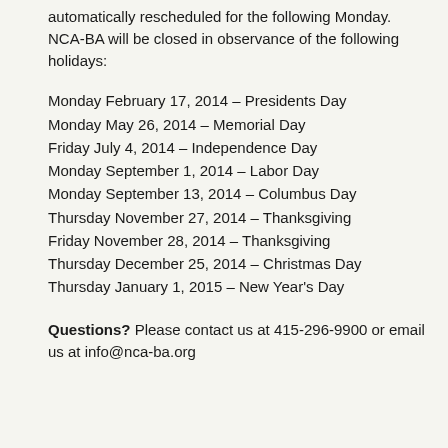automatically rescheduled for the following Monday. NCA-BA will be closed in observance of the following holidays:
Monday February 17, 2014 – Presidents Day
Monday May 26, 2014 – Memorial Day
Friday July 4, 2014 – Independence Day
Monday September 1, 2014 – Labor Day
Monday September 13, 2014 – Columbus Day
Thursday November 27, 2014 – Thanksgiving
Friday November 28, 2014 – Thanksgiving
Thursday December 25, 2014 – Christmas Day
Thursday January 1, 2015 – New Year's Day
Questions? Please contact us at 415-296-9900 or email us at info@nca-ba.org